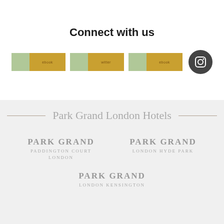Connect with us
[Figure (logo): Social media icons: Facebook, Twitter, Facebook (broken images), and Instagram circular icon]
Park Grand London Hotels
[Figure (logo): Park Grand Paddington Court London logo]
[Figure (logo): Park Grand London Hyde Park logo]
[Figure (logo): Park Grand London Kensington logo]